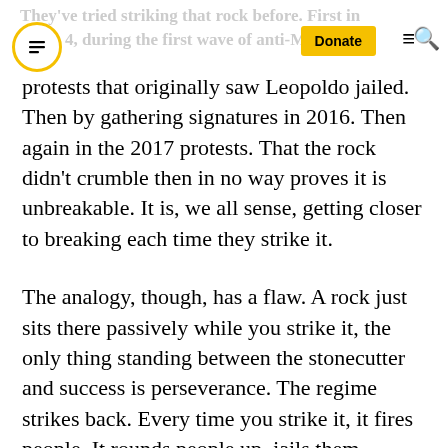They've tried striking that rock before. First in [20]14, during the first wave of anti-Ma[duro] — [logo] [Donate] [nav]
protests that originally saw Leopoldo jailed. Then by gathering signatures in 2016. Then again in the 2017 protests. That the rock didn't crumble then in no way proves it is unbreakable. It is, we all sense, getting closer to breaking each time they strike it.
The analogy, though, has a flaw. A rock just sits there passively while you strike it, the only thing standing between the stonecutter and success is perseverance. The regime strikes back. Every time you strike it, it fires people. It rounds people up, jails them, tortures them, persecutes them, even kills them.